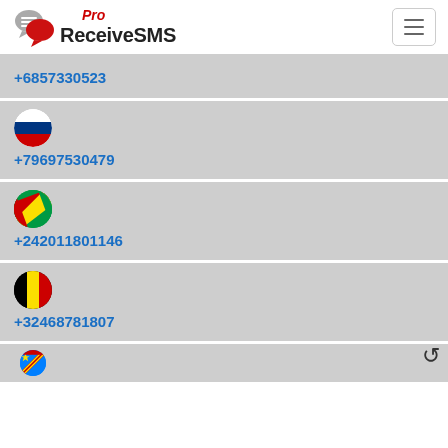Pro ReceiveSMS
+6857330523
+79697530479
+242011801146
+32468781807
(partial item with DRC flag)